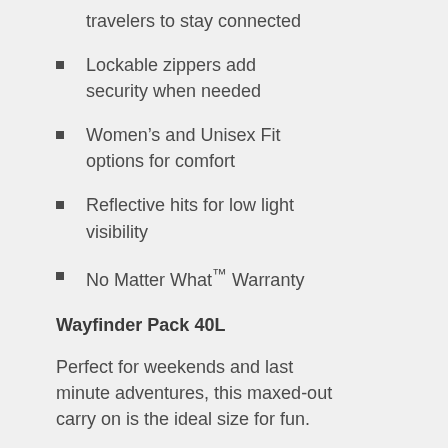travelers to stay connected
Lockable zippers add security when needed
Women's and Unisex Fit options for comfort
Reflective hits for low light visibility
No Matter What™ Warranty
Wayfinder Pack 40L
Perfect for weekends and last minute adventures, this maxed-out carry on is the ideal size for fun.